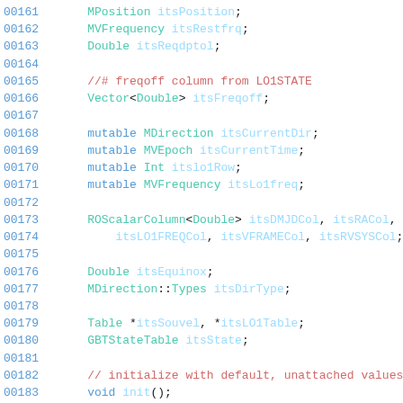[Figure (screenshot): Source code listing lines 00161-00190 showing C++ class member declarations including MPosition, MVFrequency, Double, Vector, MDirection, MVEpoch, Int, ROScalarColumn fields and method declarations for init, setLO1Table, setLO1State, setSouvel.]